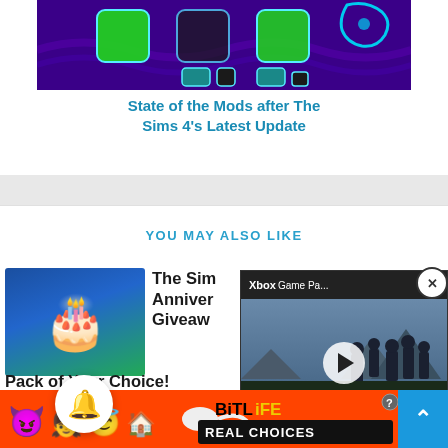[Figure (screenshot): Purple/dark background gaming image with Steam-like icon grid, green highlighted squares on dark purple wave background]
State of the Mods after The Sims 4's Latest Update
YOU MAY ALSO LIKE
[Figure (screenshot): Article thumbnail showing a blue/green birthday cake on blue gradient background]
The Sims Anniversary Giveaway Pack of Your Choice!
Se... 2, 2022
[Figure (screenshot): Xbox Game Pass promotional video overlay showing soldiers with play button, labeled XBOX GAME PASS AUGUST 2022]
[Figure (screenshot): BitLife Real Choices advertisement banner with emoji characters on orange/red background]
[Figure (illustration): Bell notification icon button]